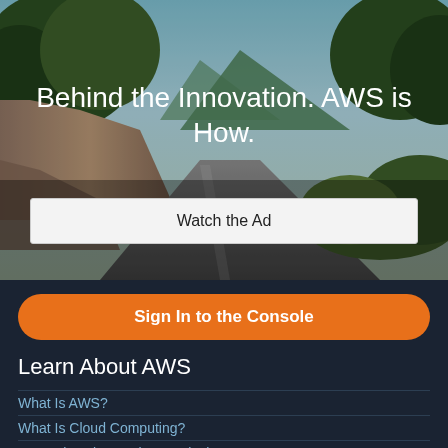[Figure (photo): A scenic road winding through mountains with trees and rocky hillsides under a partly cloudy sky, serving as a hero background image for an AWS advertisement.]
Behind the Innovation. AWS is How.
Watch the Ad
Sign In to the Console
Learn About AWS
What Is AWS?
What Is Cloud Computing?
AWS Diversity, Equity & Inclusion